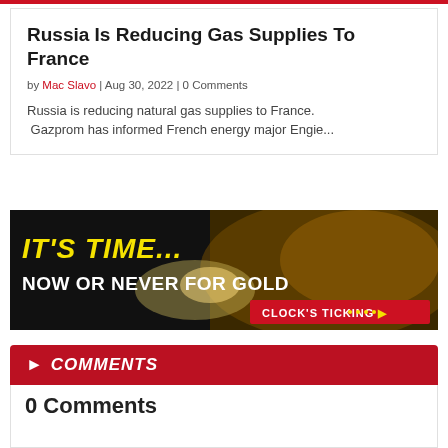Russia Is Reducing Gas Supplies To France
by Mac Slavo | Aug 30, 2022 | 0 Comments
Russia is reducing natural gas supplies to France.
 Gazprom has informed French energy major Engie...
[Figure (infographic): Advertisement banner: IT'S TIME... NOW OR NEVER FOR GOLD. CLOCK'S TICKING with arrow dots. Dark background with golden/glowing imagery.]
> COMMENTS
0 Comments